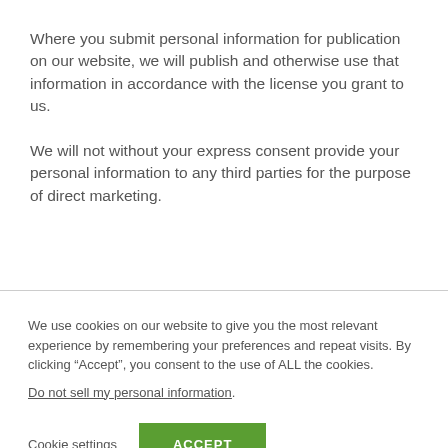Where you submit personal information for publication on our website, we will publish and otherwise use that information in accordance with the license you grant to us.
We will not without your express consent provide your personal information to any third parties for the purpose of direct marketing.
We use cookies on our website to give you the most relevant experience by remembering your preferences and repeat visits. By clicking “Accept”, you consent to the use of ALL the cookies.
Do not sell my personal information.
Cookie settings
ACCEPT